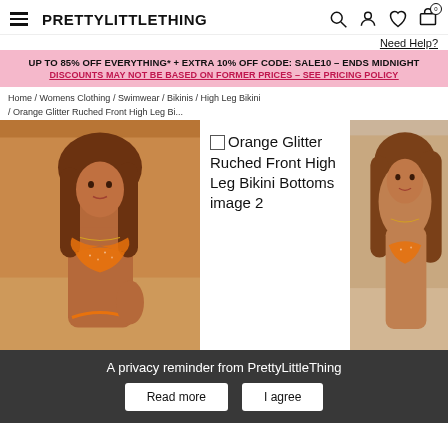PRETTYLITTLETHING
Need Help?
UP TO 85% OFF EVERYTHING* + EXTRA 10% OFF CODE: SALE10 – ENDS MIDNIGHT
DISCOUNTS MAY NOT BE BASED ON FORMER PRICES – SEE PRICING POLICY
Home / Womens Clothing / Swimwear / Bikinis / High Leg Bikini / Orange Glitter Ruched Front High Leg Bi...
[Figure (photo): Model wearing orange glitter bikini top – left product image panel]
Orange Glitter Ruched Front High Leg Bikini Bottoms image 2
[Figure (photo): Model wearing orange glitter bikini – right product image panel]
A privacy reminder from PrettyLittleThing
Read more
I agree